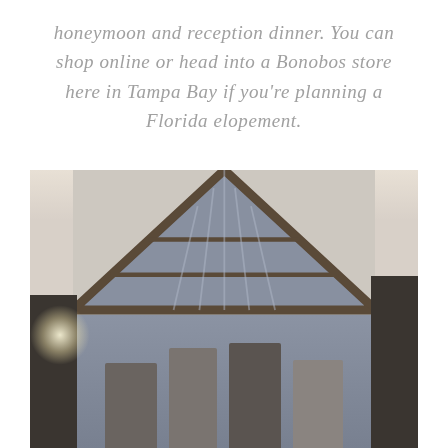honeymoon and reception dinner. You can shop online or head into a Bonobos store here in Tampa Bay if you're planning a Florida elopement.
[Figure (photo): Four men in grey suits standing in front of a large barn-style building with a prominent triangular glass facade and wooden cross-beam structure, photographed outdoors. A lens flare is visible on the left side.]